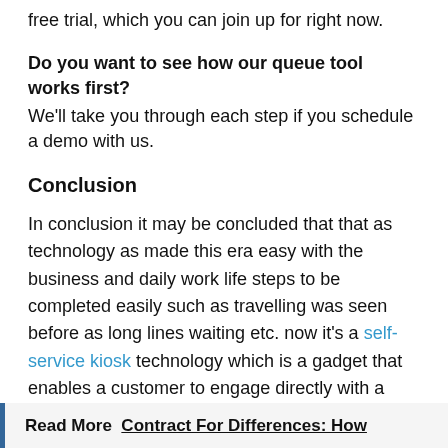free trial, which you can join up for right now.
Do you want to see how our queue tool works first? We'll take you through each step if you schedule a demo with us.
Conclusion
In conclusion it may be concluded that that as technology as made this era easy with the business and daily work life steps to be completed easily such as travelling was seen before as long lines waiting etc. now it's a self-service kiosk technology which is a gadget that enables a customer to engage directly with a business and receive services at their leisure. Purchasing rail or bus tickets is the most frequent example of this.
Read More  Contract For Differences: How